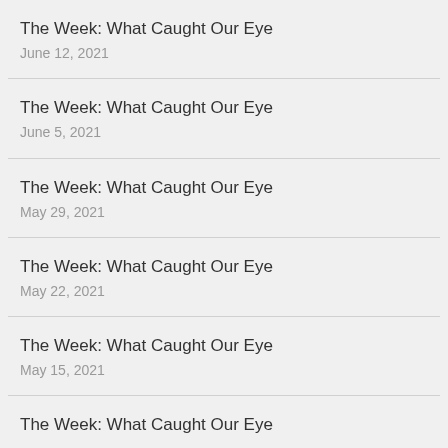The Week: What Caught Our Eye
June 12, 2021
The Week: What Caught Our Eye
June 5, 2021
The Week: What Caught Our Eye
May 29, 2021
The Week: What Caught Our Eye
May 22, 2021
The Week: What Caught Our Eye
May 15, 2021
The Week: What Caught Our Eye